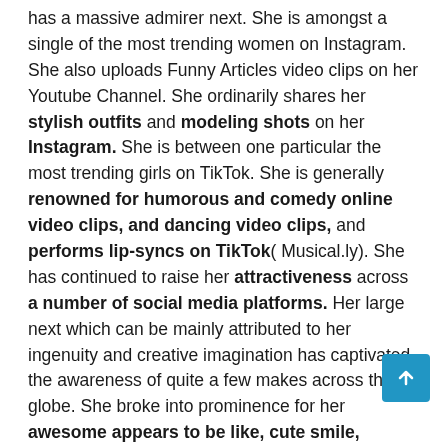has a massive admirer next. She is amongst a single of the most trending women on Instagram. She also uploads Funny Articles video clips on her Youtube Channel. She ordinarily shares her stylish outfits and modeling shots on her Instagram. She is between one particular the most trending girls on TikTok. She is generally renowned for humorous and comedy online video clips, and dancing video clips, and performs lip-syncs on TikTok( Musical.ly). She has continued to raise her attractiveness across a number of social media platforms. Her large next which can be mainly attributed to her ingenuity and creative imagination has captivated the awareness of quite a few makes across the globe. She broke into prominence for her awesome appears to be like, cute smile, design, and superb identity, growing her acceptance for her charming visuals and video clips. Her social media presence is rising at an astounding tempo. You will be before long observing her in Modeling shoots.  We stroll you by way of all about her. Checkout her Wiki, Age,  Family members,  Details, and More